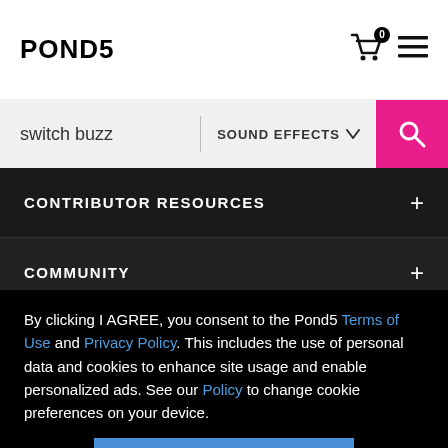POND5
switch buzz | SOUND EFFECTS
CONTRIBUTOR RESOURCES +
COMMUNITY +
SERVICES & TOOLS +
By clicking I AGREE, you consent to the Pond5 Terms of Use and Privacy Policy. This includes the use of personal data and cookies to enhance site usage and enable personalized ads. See our Policy to change cookie preferences on your device.
I AGREE